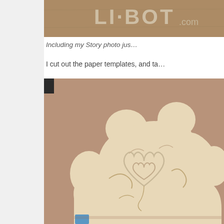[Figure (photo): Partial view of a sign reading 'LI-BOT.com' on a textured brown/sandy background, cropped at the top of the page]
Including my Story photo jus…
I cut out the paper templates, and ta…
[Figure (photo): A large wooden or foam cutout with a cloud/flower petal shape and carved/drawn heart and floral patterns on top, leaning against a pinkish-brown wall. A blue tape or prop is visible at the bottom.]